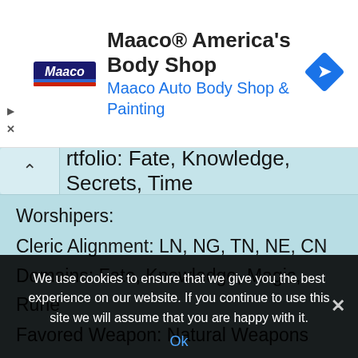[Figure (screenshot): Maaco advertisement banner with logo on left, heading 'Maaco® America's Body Shop', subtitle 'Maaco Auto Body Shop & Painting' in blue, and a blue diamond direction sign icon on the right.]
Portfolio: Fate, Knowledge, Secrets, Time
Worshipers:
Cleric Alignment: LN, NG, TN, NE, CN
Domains: Fate, Knowledge, Magic, Rune
Favored Weapon: Natural Weapons
Julianos
Intermediate Deity
We use cookies to ensure that we give you the best experience on our website. If you continue to use this site we will assume that you are happy with it.